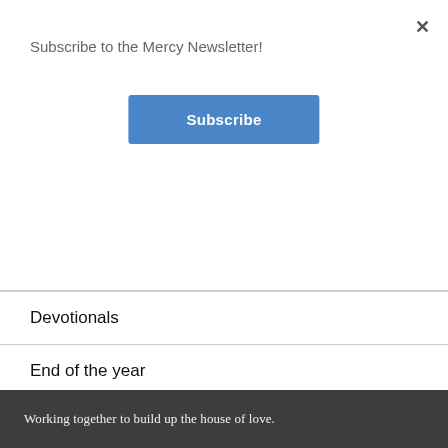Subscribe to the Mercy Newsletter!
Subscribe
×
Devotionals
End of the year
lent
Uncategorized
Working together to build up the house of love.